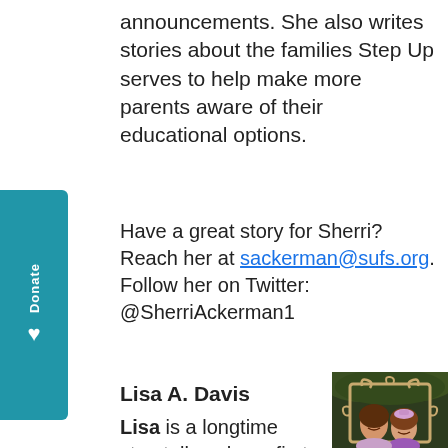announcements. She also writes stories about the families Step Up serves to help make more parents aware of their educational options.
Have a great story for Sherri? Reach her at sackerman@sufs.org. Follow her on Twitter: @SherriAckerman1
Lisa A. Davis
[Figure (photo): Photo of two women/girls smiling, holding a decorative wooden frame, with greenery in background]
Lisa is a longtime storyteller whose first-grade public